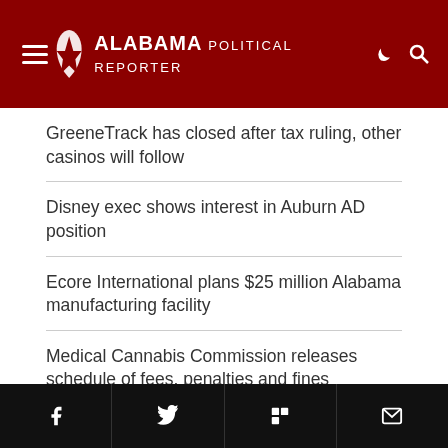ALABAMA POLITICAL REPORTER
GreeneTrack has closed after tax ruling, other casinos will follow
Disney exec shows interest in Auburn AD position
Ecore International plans $25 million Alabama manufacturing facility
Medical Cannabis Commission releases schedule of fees, penalties and fines
FAA grants $17.8 million for Alabama airports
social share bar: Facebook, Twitter, Flipboard, Email